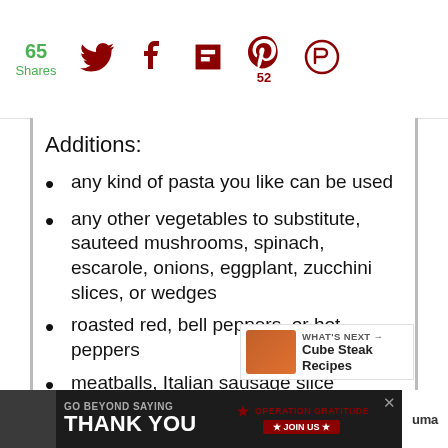65 Shares | social share icons | Pinterest: 52
Additions:
any kind of pasta you like can be used
any other vegetables to substitute, sauteed mushrooms, spinach, escarole, onions, eggplant, zucchini slices, or wedges
roasted red, bell peppers, or hot peppers
meatballs, Italian sausage slices, cooked steak, pork or lamb, prosciutto, or
GO BEYOND SAYING THANK YOU | OPERATION GRATITUDE | JOIN US